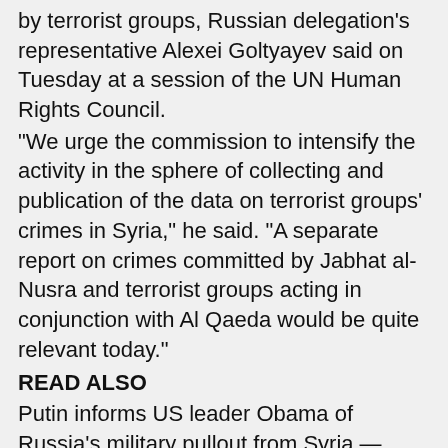by terrorist groups, Russian delegation's representative Alexei Goltyayev said on Tuesday at a session of the UN Human Rights Council.
"We urge the commission to intensify the activity in the sphere of collecting and publication of the data on terrorist groups' crimes in Syria," he said. "A separate report on crimes committed by Jabhat al-Nusra and terrorist groups acting in conjunction with Al Qaeda would be quite relevant today."
READ ALSO
Putin informs US leader Obama of Russia's military pullout from Syria — Kremlin
Truce in Syria enters into third week to give Geneva talks a chance
Humanitarian aid sent to Syrian city partly seized by gunmen
Goltyayev also said that the UN Human Rights Council should promote a truce in Syria and not push the conflict sides towards confrontation. "Unfortunately, a number of countries continue to push UNHCR towards confrontation," he said. "The draft resolution on Syria circulated by them does not take into account the objective reality, contains false messages and intentionally distorts the situation. This confrontational practice must be stopped," the official said.